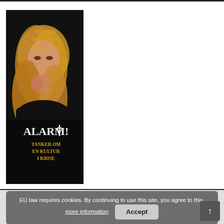[Figure (photo): Book cover for 'Alarm! Tanker om en kultur i krise' by Hanne Nabintu Herland. Shows a blonde woman against a dark background. Title text in black and gold on the cover.]
EU law requires cookies. By continuing to use this site, you agree to this. more information  Accept
[Figure (logo): NY VIND logo/text in blue with blue and gold vertical bars on the left]